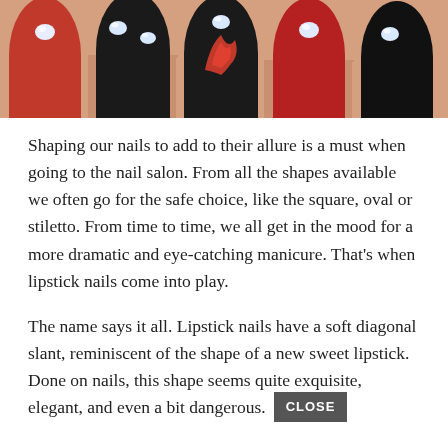[Figure (photo): Close-up photo of decorated fingernails with red and black nail polish, rhinestone gems, and flame nail art designs on fingers]
Shaping our nails to add to their allure is a must when going to the nail salon. From all the shapes available we often go for the safe choice, like the square, oval or stiletto. From time to time, we all get in the mood for a more dramatic and eye-catching manicure. That's when lipstick nails come into play.
The name says it all. Lipstick nails have a soft diagonal slant, reminiscent of the shape of a new sweet lipstick. Done on nails, this shape seems quite exquisite, elegant, and even a bit dangerous.
Like with most long nails, don't expect be able to do